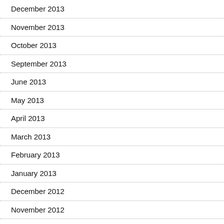December 2013
November 2013
October 2013
September 2013
June 2013
May 2013
April 2013
March 2013
February 2013
January 2013
December 2012
November 2012